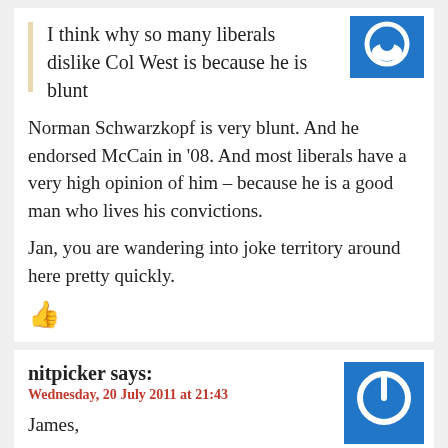I think why so many liberals dislike Col West is because he is blunt
Norman Schwarzkopf is very blunt. And he endorsed McCain in '08. And most liberals have a very high opinion of him – because he is a good man who lives his convictions.
Jan, you are wandering into joke territory around here pretty quickly.
nitpicker says:
Wednesday, 20 July 2011 at 21:43
James,
One point that's often highlighted by West's supporters in the recalling of West's tale is his claim that everything he